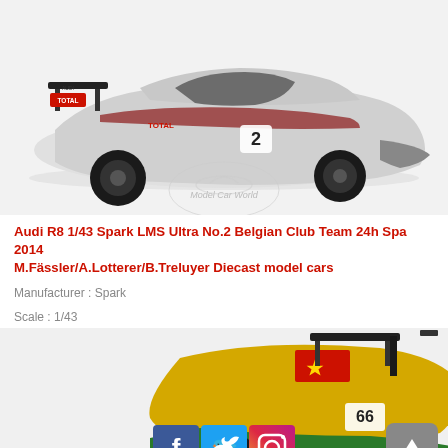[Figure (photo): Photo of Audi R8 LMS Ultra No.2 diecast model car in white, red, and black livery with TOTAL sponsorship, number 2 on door, on white background with Model Car World watermark]
Audi R8 1/43 Spark LMS Ultra No.2 Belgian Club Team 24h Spa 2014 M.Fässler/A.Lotterer/B.Treluyer Diecast model cars
Manufacturer : Spark
Scale : 1/43
[Figure (photo): Partial photo of second Audi R8 diecast model car in yellow and green livery with Chinese flag detail and number 66, with social media icons (Facebook, Twitter, Instagram) overlay and scroll-up button]